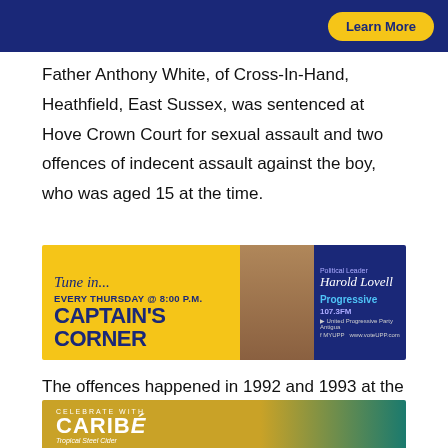[Figure (other): Blue advertisement banner with yellow 'Learn More' button]
Father Anthony White, of Cross-In-Hand, Heathfield, East Sussex, was sentenced at Hove Crown Court for sexual assault and two offences of indecent assault against the boy, who was aged 15 at the time.
[Figure (other): Captain's Corner radio show advertisement banner with Harold Lovell, Progressive 107.3FM, every Thursday at 8:00 P.M.]
The offences happened in 1992 and 1993 at the address where White was then living in Horsham while he was an assistant priest at St John's Church.
[Figure (other): Caribe Tropical beer advertisement banner - Celebrate with Caribé]